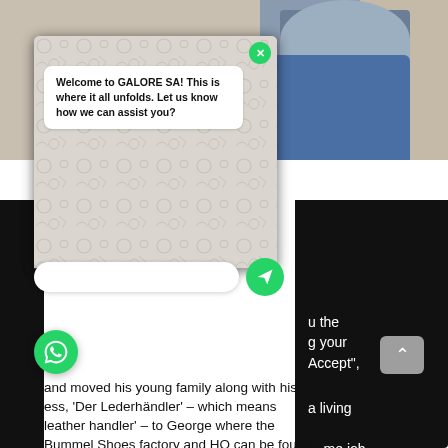[Figure (screenshot): Screenshot of a WhatsApp chat widget overlaid on a webpage. The chat bubble reads: 'Welcome to GALORE SA! This is where it all unfolds. Let us know how we can assist you?' with a green close/send button. Below, a text input bar and green send arrow button are visible. A green WhatsApp icon appears at bottom left. Behind the overlay are photos of a person in a blue sweater (top right) and a dark background with partial white text reading 'the', 'g your', 'Accept",' and 'a living', 'me job'. Bottom article text reads: 'and moved his young family along with his ess, 'Der Lederhändler' – which means leather handler' – to George where the Bummel Shoes factory and HQ can be found']
Welcome to GALORE SA! This is where it all unfolds. Let us know how we can assist you?
u the g your Accept",
a living me job and moved his young family along with his ess, 'Der Lederhändler' – which means the leather handler' – to George where the Bummel Shoes factory and HQ can be found